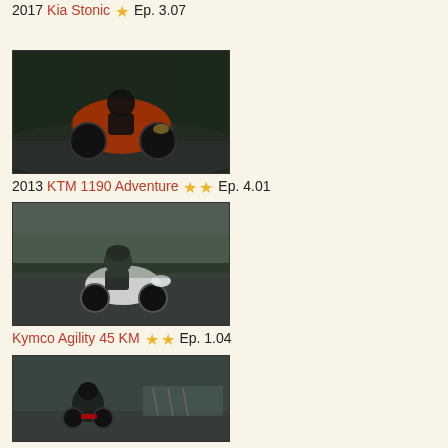2017 Kia Stonic ★ Ep. 3.07
[Figure (photo): Photo of KTM 1190 Adventure motorcycle being ridden on road, dark moody scene]
2013 KTM 1190 Adventure ★★ Ep. 4.01
[Figure (photo): Photo of person riding Kymco Agility 45 KM scooter on road, overcast weather]
Kymco Agility 45 KM ★★ Ep. 1.04
[Figure (photo): Photo of person riding Kymco Agility 50 scooter on city street, bicycles parked in background]
2011 Kymco Agility 50 ★★ Ep. 2.05
[Figure (photo): Partial photo at bottom of page, vehicle scene]